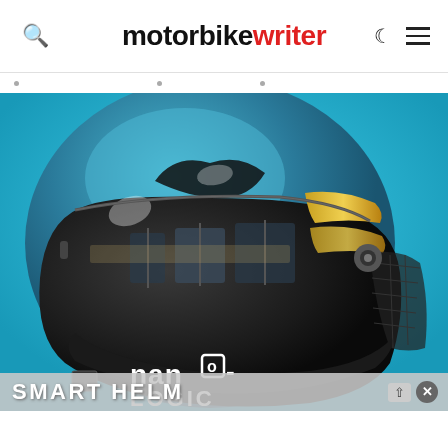motorbike writer
[Figure (photo): A Nanologic smart motorcycle helmet on a blue background. The helmet is dark blue/grey with a reflective dark visor and gold accent stripes. The Nanologic logo is displayed in white on the lower portion of the visor.]
SMART HELM